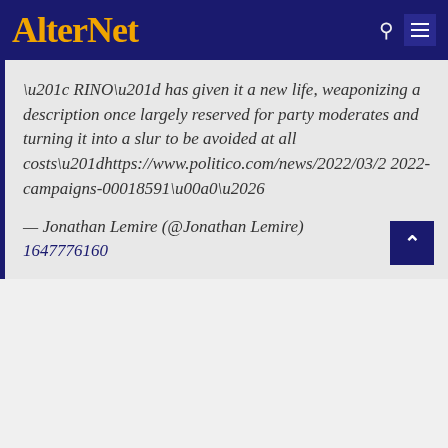AlterNet
\u201c RINO\u201d has given it a new life, weaponizing a description once largely reserved for party moderates and turning it into a slur to be avoided at all costs\u201dhttps://www.politico.com/news/2022/03/2022-campaigns-00018591\u00a0\u2026
— Jonathan Lemire (@Jonathan Lemire) 1647776160